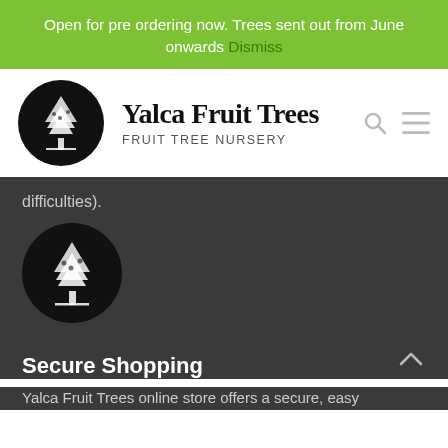Open for pre ordering now. Trees sent out from June onwards Dismiss
[Figure (logo): Yalca Fruit Trees circular black logo with illustrated fruit tree]
Yalca Fruit Trees
FRUIT TREE NURSERY
difficulties).
[Figure (logo): Yalca Fruit Trees circular black logo with illustrated fruit tree (larger, dark background)]
Secure Shopping
Yalca Fruit Trees online store offers a secure, easy